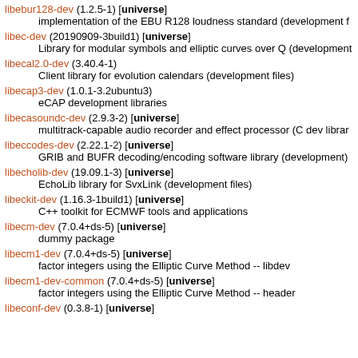libebur128-dev (1.2.5-1) [universe]
    implementation of the EBU R128 loudness standard (development f…
libec-dev (20190909-3build1) [universe]
    Library for modular symbols and elliptic curves over Q (development…
libecal2.0-dev (3.40.4-1)
    Client library for evolution calendars (development files)
libecap3-dev (1.0.1-3.2ubuntu3)
    eCAP development libraries
libecasoundc-dev (2.9.3-2) [universe]
    multitrack-capable audio recorder and effect processor (C dev librar…
libeccodes-dev (2.22.1-2) [universe]
    GRIB and BUFR decoding/encoding software library (development)
libecholib-dev (19.09.1-3) [universe]
    EchoLib library for SvxLink (development files)
libeckit-dev (1.16.3-1build1) [universe]
    C++ toolkit for ECMWF tools and applications
libecm-dev (7.0.4+ds-5) [universe]
    dummy package
libecm1-dev (7.0.4+ds-5) [universe]
    factor integers using the Elliptic Curve Method -- libdev
libecm1-dev-common (7.0.4+ds-5) [universe]
    factor integers using the Elliptic Curve Method -- header
libeconf-dev (0.3.8-1) [universe]